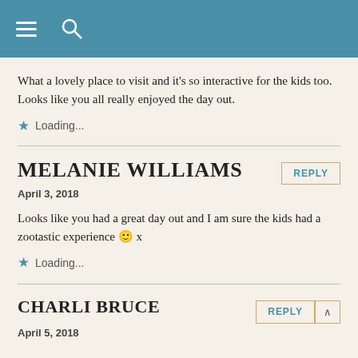Navigation bar with menu and search icons
What a lovely place to visit and it's so interactive for the kids too. Looks like you all really enjoyed the day out.
Loading...
MELANIE WILLIAMS
April 3, 2018
Looks like you had a great day out and I am sure the kids had a zootastic experience 🙂 x
Loading...
CHARLI BRUCE
April 5, 2018